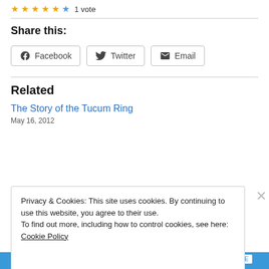[Figure (other): Star rating row: five gold stars, one blue star, text '1 vote']
Share this:
[Figure (other): Share buttons: Facebook, Twitter, Email]
Related
The Story of the Tucum Ring
May 16, 2012
Privacy & Cookies: This site uses cookies. By continuing to use this website, you agree to their use.
To find out more, including how to control cookies, see here: Cookie Policy
Close and accept